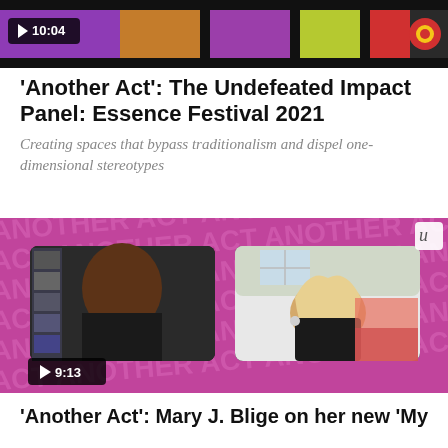[Figure (screenshot): Video thumbnail showing colorful panel/bar design with play button and timestamp 10:04]
'Another Act': The Undefeated Impact Panel: Essence Festival 2021
Creating spaces that bypass traditionalism and dispel one-dimensional stereotypes
[Figure (screenshot): Video thumbnail showing two women on a video call against pink 'Another Act' branded background, with play button and timestamp 9:13]
'Another Act': Mary J. Blige on her new 'My